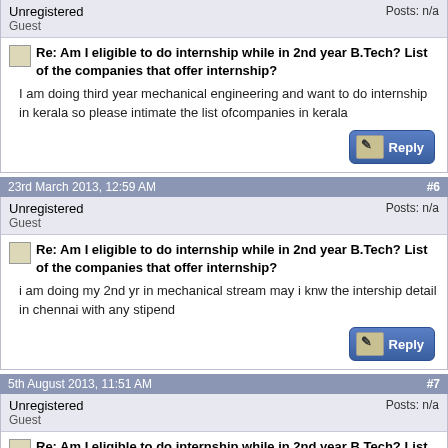Unregistered
Guest
Posts: n/a
Re: Am I eligible to do internship while in 2nd year B.Tech? List of the companies that offer internship?
I am doing third year mechanical engineering and want to do internship in kerala so please intimate the list ofcompanies in kerala
23rd March 2013, 12:59 AM #6
Unregistered
Guest
Posts: n/a
Re: Am I eligible to do internship while in 2nd year B.Tech? List of the companies that offer internship?
i am doing my 2nd yr in mechanical stream may i knw the intership detail in chennai with any stipend
5th August 2013, 11:51 AM #7
Unregistered
Guest
Posts: n/a
Re: Am I eligible to do internship while in 2nd year B.Tech? List of the companies that offer internship?